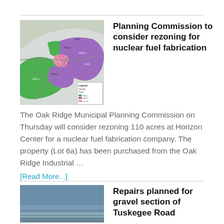[Figure (map): Zoning map showing land parcels at Horizon Center, with green and purple shaded zones, pink hatched area, roads, and a legend indicating zoning types.]
Planning Commission to consider rezoning for nuclear fuel fabrication
The Oak Ridge Municipal Planning Commission on Thursday will consider rezoning 110 acres at Horizon Center for a nuclear fuel fabrication company. The property (Lot 6a) has been purchased from the Oak Ridge Industrial …
[Read More...]
[Figure (photo): Partial view of a road or gravel section, appears to show a road surface.]
Repairs planned for gravel section of Tuskegee Road